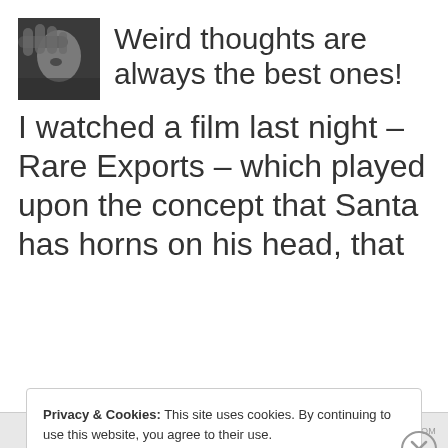[Figure (photo): Small grayscale avatar photo showing a close-up of a face with hand]
Weird thoughts are always the best ones!
I watched a film last night – Rare Exports – which played upon the concept that Santa has horns on his head, that
Privacy & Cookies: This site uses cookies. By continuing to use this website, you agree to their use.
To find out more, including how to control cookies, see here: Cookie Policy
Close and accept